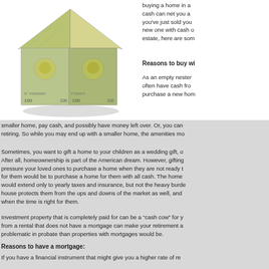[Figure (photo): A house made of $100 dollar bills, symbolizing buying a home with cash. The house shape is constructed entirely of US currency notes showing Benjamin Franklin.]
buying a home in a... cash can net you a... you've just sold your... new one with cash o... estate, here are som...
Reasons to buy wi...
As an empty nester... often have cash fro... purchase a new hom... smaller home, pay cash, and possibly have money left over. Or, you can retiring. So while you may end up with a smaller home, the amenities mo...
Sometimes, you want to gift a home to your children as a wedding gift, o... After all, homeownership is part of the American dream. However, gifting pressure your loved ones to purchase a home when they are not ready t... for them would be to purchase a home for them with all cash. The home would extend only to yearly taxes and insurance, but not the heavy burde... house protects them from the ups and downs of the market as well, and when the time is right for them.
Investment property that is completely paid for can be a "cash cow" for y... from a rental that does not have a mortgage can make your retirement a... problematic in probate than properties with mortgages would be.
Reasons to have a mortgage:
If you have a financial instrument that might give you a higher rate of re...